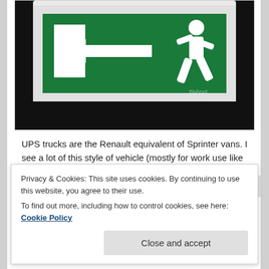[Figure (photo): Emergency exit sign mounted on ceiling/wall — green rectangular illuminated sign with white pictogram of a running person and a left-pointing arrow toward a door outline. Dark background around the sign.]
UPS trucks are the Renault equivalent of Sprinter vans. I see a lot of this style of vehicle (mostly for work use like Ambulances, delivery, etc.). There are Renault, the Sprinter...
Privacy & Cookies: This site uses cookies. By continuing to use this website, you agree to their use.
To find out more, including how to control cookies, see here: Cookie Policy
Close and accept